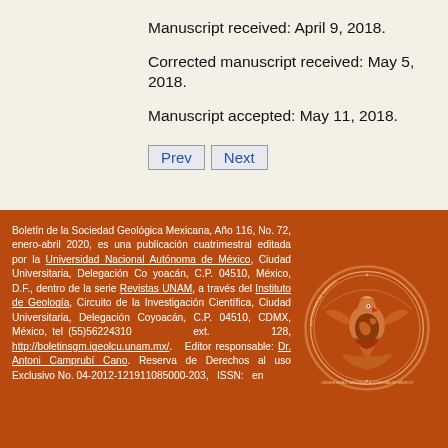Manuscript received: April 9, 2018.
Corrected manuscript received: May 5, 2018.
Manuscript accepted: May 11, 2018.
Prev  Next
Boletín de la Sociedad Geológica Mexicana, Año 116, No. 72, enero-abril 2020, es una publicación cuatrimestral editada por la Universidad Nacional Autónoma de México, Ciudad Universitaria, Delegación Coyoacán, C.P. 04510, México, D.F., dentro de la serie Revistas UNAM, a través del Instituto de Geología, Circuito de la Investigación Científica, Ciudad Universitaria, Delegación Coyoacán, C.P. 04510, CDMX, México, tel (55)56224310 ext. 128, http://boletinsgm.igeolcu.unam.mx/. Editor responsable: Dr. Antoni Camprubí Cano. Reserva de Derechos al uso Exclusivo No. 04-2012-121911085000-203, ISSN: en
[Figure (logo): UNAM (Universidad Nacional Autónoma de México) institutional seal/coat of arms in brown and white tones]